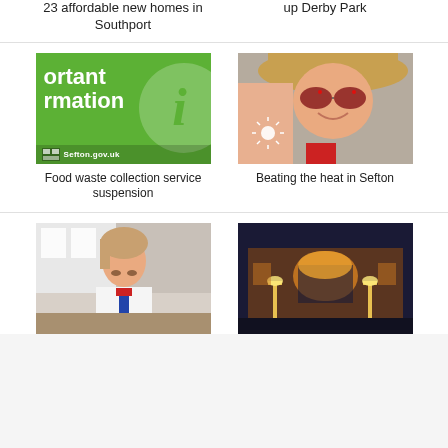[Figure (other): Partial text link: 23 affordable new homes in Southport]
23 affordable new homes in Southport
[Figure (other): Partial text link: up Derby Park]
up Derby Park
[Figure (photo): Green Sefton.gov.uk information card with text 'ortant' and 'rmation' visible, white circle with italic i]
Food waste collection service suspension
[Figure (photo): Young woman in sunhat and sunglasses holding up hand with sun cream design on palm]
Beating the heat in Sefton
[Figure (photo): School student, young girl with blonde hair in uniform studying at desk]
[Figure (photo): Government building photographed at dusk with lights illuminating facade]